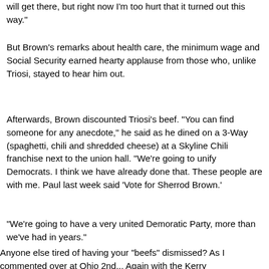will get there, but right now I'm too hurt that it turned out this way."
But Brown's remarks about health care, the minimum wage and Social Security earned hearty applause from those who, unlike Triosi, stayed to hear him out.
Afterwards, Brown discounted Triosi's beef. "You can find someone for any anecdote," he said as he dined on a 3-Way (spaghetti, chili and shredded cheese) at a Skyline Chili franchise next to the union hall. "We're going to unify Democrats. I think we have already done that. These people are with me. Paul last week said 'Vote for Sherrod Brown.'
"We're going to have a very united Demoratic Party, more than we've had in years."
Anyone else tired of having your "beefs" dismissed? As I commented over at Ohio 2nd... Again with the Kerry